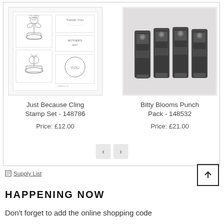[Figure (illustration): Just Because Cling Stamp Set product image showing botanical stamp designs with plant illustrations and text]
Just Because Cling Stamp Set - 148786
Price: £12.00
[Figure (photo): Bitty Blooms Punch Pack product photo showing four dark grey punch tools lined up in a row]
Bitty Blooms Punch Pack - 148532
Price: £21.00
Supply List
HAPPENING NOW
Don't forget to add the online shopping code